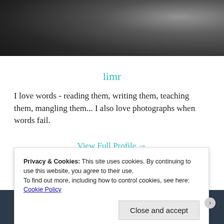[Figure (photo): Dark grayscale photograph at the top of a blog profile page, showing a blurred abstract dark image.]
limr
I love words - reading them, writing them, teaching them, mangling them... I also love photographs when words fail.
View Full Profile →
Privacy & Cookies: This site uses cookies. By continuing to use this website, you agree to their use.
To find out more, including how to control cookies, see here: Cookie Policy
Close and accept